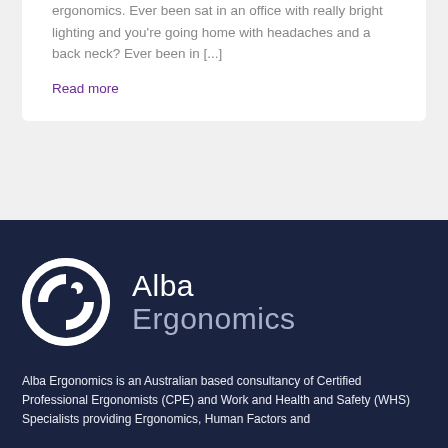ergonomics. Ever been sat in an office with really bright lighting and you're going home with headaches and a back neck? Ever been in [...]
Read more
[Figure (logo): Alba Ergonomics logo: white circular icon with abstract human figure on dark navy background, with text 'Alba Ergonomics' in white]
Alba Ergonomics is an Australian based consultancy of Certified Professional Ergonomists (CPE) and Work and Health and Safety (WHS) Specialists providing Ergonomics, Human Factors and